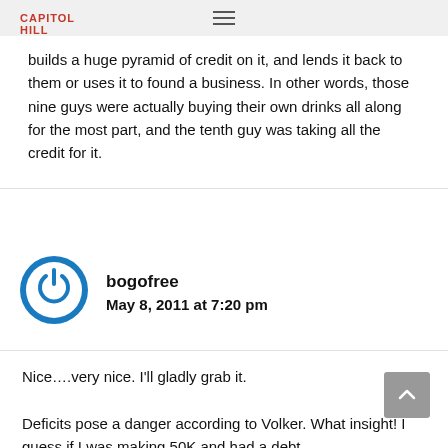CAPITOL HILL BLUE
builds a huge pyramid of credit on it, and lends it back to them or uses it to found a business. In other words, those nine guys were actually buying their own drinks all along for the most part, and the tenth guy was taking all the credit for it.
bogofree
May 8, 2011 at 7:20 pm
Nice….very nice. I'll gladly grab it.

Deficits pose a danger according to Volker. What insight! I guess if I was making 50K and had a debt